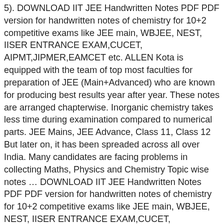5). DOWNLOAD IIT JEE Handwritten Notes PDF PDF version for handwritten notes of chemistry for 10+2 competitive exams like JEE main, WBJEE, NEST, IISER ENTRANCE EXAM,CUCET, AIPMT,JIPMER,EAMCET etc. ALLEN Kota is equipped with the team of top most faculties for preparation of JEE (Main+Advanced) who are known for producing best results year after year. These notes are arranged chapterwise. Inorganic chemistry takes less time during examination compared to numerical parts. JEE Mains, JEE Advance, Class 11, Class 12 But later on, it has been spreaded across all over India. Many candidates are facing problems in collecting Maths, Physics and Chemistry Topic wise notes … DOWNLOAD IIT JEE Handwritten Notes PDF PDF version for handwritten notes of chemistry for 10+2 competitive exams like JEE main, WBJEE, NEST, IISER ENTRANCE EXAM,CUCET, AIPMT,JIPMER,EAMCET etc. Here I will provide you free. Handwritten Notes of 3D GEOMETRY (1) These notes are arranged chapterwise. PDF version handwritten notes of Physics for 10+2 competitive exams like JEE Main, WBJEE, NEST, IISER 50 …